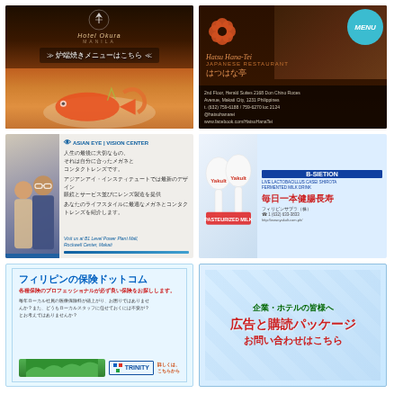[Figure (photo): Hotel Okura Manila advertisement for robata-yaki menu, featuring grilled fish and shrimp dish. Japanese text: 炉端焼きメニューはこちら]
[Figure (photo): Hatsu Hana-Tei Japanese restaurant advertisement. Address: 2nd Floor, Herald Suites 2168 Don Chino Roces Avenue, Makati City, 1231 Philippines. Phone: (632) 759-6188 / 759-6270 loc 2124. @hatsuhanarei. www.facebook.com/HatsuHanaTei. With MENU badge.]
[Figure (photo): Asian Eye Vision Center advertisement in Japanese. Visit us at B1 Level Power Plant Mall, Rockwell Center, Makati.]
[Figure (photo): Yakult Philippines advertisement. Japanese text: 毎日一本健腸長寿. B-Sietón brand. フィリピンサプラ（株）]
[Figure (photo): フィリピンの保険ドットコム insurance advertisement. 各種保険のプロフェッショナルが必ず良い保険をお探しします。Trinity insurance branding.]
[Figure (photo): 企業・ホテルの皆様へ 広告と購読パッケージ お問い合わせはこちら - advertising package inquiry advertisement]